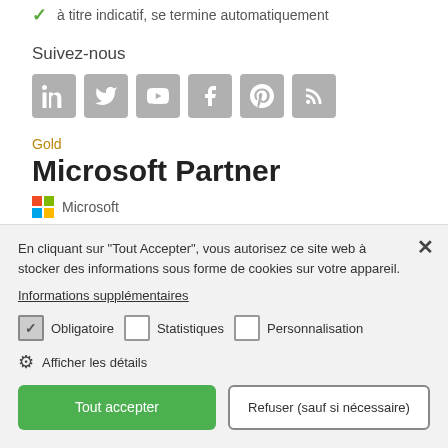à titre indicatif, se termine automatiquement
Suivez-nous
[Figure (other): Social media icons: LinkedIn, Twitter, YouTube, Facebook, Pinterest, RSS]
Gold
Microsoft Partner
[Figure (logo): Microsoft logo with colored squares and Microsoft text]
En cliquant sur "Tout Accepter", vous autorisez ce site web à stocker des informations sous forme de cookies sur votre appareil.
Informations supplémentaires
Obligatoire  Statistiques  Personnalisation
Afficher les détails
Tout accepter
Refuser (sauf si nécessaire)